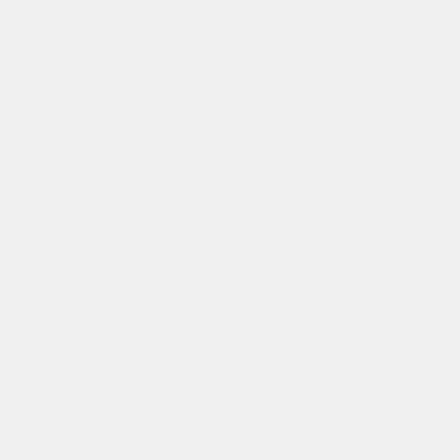| Feature | Status |
| --- | --- |
|  | Untested |
| L2 cache enabled | OK=lime | TODO=red | No=red | WIP=orange | Untested=yellow | N/A=lightgray yellow }}" | Untested |
| L3 cache enabled | OK=lime | TODO=red | No=red | WIP=orange | Untested=yellow | N/A=lightgray yellow }}" | N/A |
| Multiple CPU support | OK=lime | TODO=red | No=red | WIP=orange | Untested=yellow | N/A=lightgray yellow }}" | N/A |